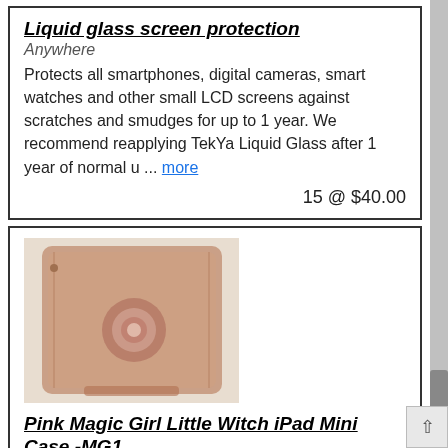Liquid glass screen protection
Anywhere
Protects all smartphones, digital cameras, smart watches and other small LCD screens against scratches and smudges for up to 1 year. We recommend reapplying TekYa Liquid Glass after 1 year of normal u ... more
15 @ $40.00
[Figure (photo): A pink/tan rotating iPad mini case with a circular swivel mechanism on the back, photographed at an angle.]
Pink Magic Girl Little Witch iPad Mini Case -MG1